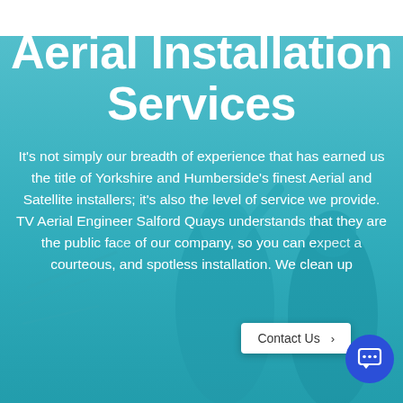[Figure (photo): Two technicians in blue uniforms pointing upward, likely at an aerial or antenna installation, with aerial equipment visible in the background. The image has a teal/cyan color overlay.]
Aerial Installation Services
It’s not simply our breadth of experience that has earned us the title of Yorkshire and Humberside’s finest Aerial and Satellite installers; it’s also the level of service we provide. TV Aerial Engineer Salford Quays understands that they are the public fa… of our company, so you can e… a… courteous, and spotless installation. We clean up